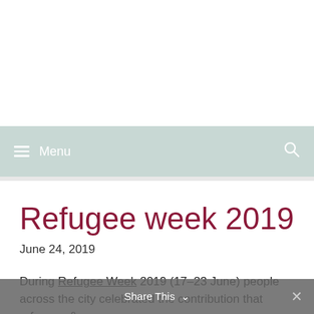Menu
Refugee week 2019
June 24, 2019
During Refugee Week 2019 (17–23 June) people across the city celebrated the contribution that refugees &
Share This